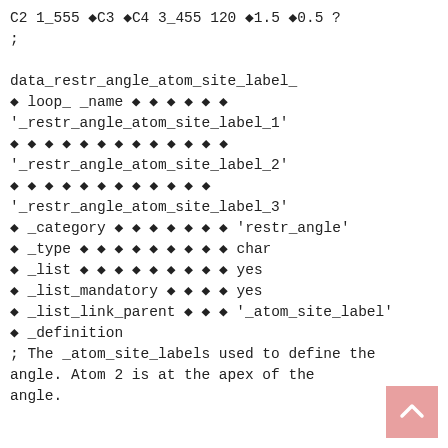C2 1_555 �C3 �C4 3_455 120 �1.5 �0.5 ?
;

data_restr_angle_atom_site_label_
� loop_ _name � � � � � �
'_restr_angle_atom_site_label_1'
� � � � � � � � � � � � �
'_restr_angle_atom_site_label_2'
� � � � � � � � � � � �
'_restr_angle_atom_site_label_3'
� _category � � � � � � � 'restr_angle'
� _type � � � � � � � � � char
� _list � � � � � � � � � yes
� _list_mandatory � � � � yes
� _list_link_parent � � � '_atom_site_label'
� _definition
; The _atom_site_labels used to define the
angle. Atom 2 is at the apex of the
angle.